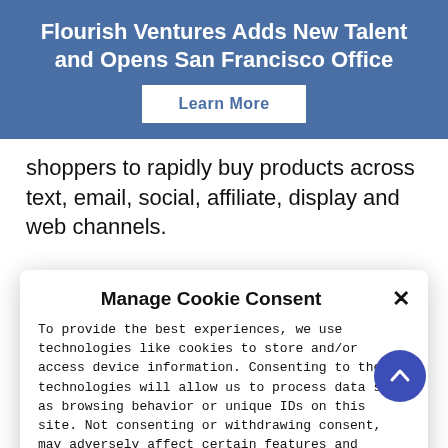Flourish Ventures Adds New Talent and Opens San Francisco Office
[Figure (other): Learn More button on blue banner]
shoppers to rapidly buy products across text, email, social, affiliate, display and web channels.
In December last year, Synchrony, a major consumer financial services firm, made an
Manage Cookie Consent
To provide the best experiences, we use technologies like cookies to store and/or access device information. Consenting to these technologies will allow us to process data such as browsing behavior or unique IDs on this site. Not consenting or withdrawing consent, may adversely affect certain features and functions.
Accept